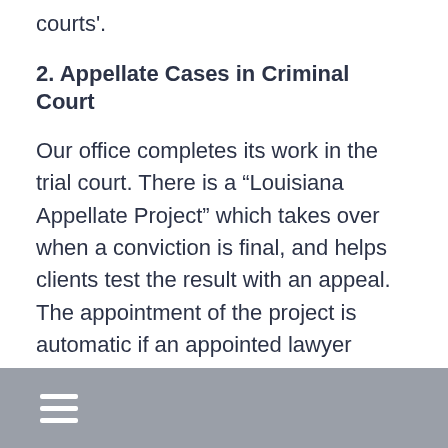courts'.
2. Appellate Cases in Criminal Court
Our office completes its work in the trial court.  There is a “Louisiana Appellate Project” which takes over when a conviction is final, and helps clients test the result with an appeal.  The appointment of the project is automatic if an appointed lawyer worked for the client at the trial of the case.